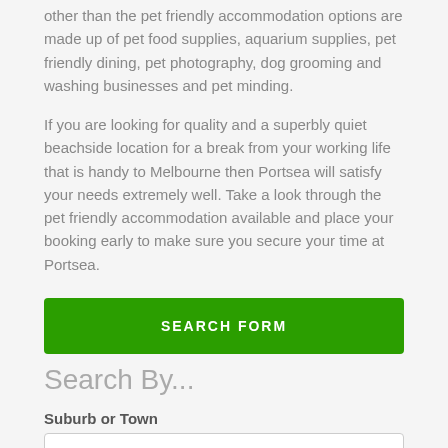other than the pet friendly accommodation options are made up of pet food supplies, aquarium supplies, pet friendly dining, pet photography, dog grooming and washing businesses and pet minding.
If you are looking for quality and a superbly quiet beachside location for a break from your working life that is handy to Melbourne then Portsea will satisfy your needs extremely well. Take a look through the pet friendly accommodation available and place your booking early to make sure you secure your time at Portsea.
SEARCH FORM
Search By...
Suburb or Town
Portsea